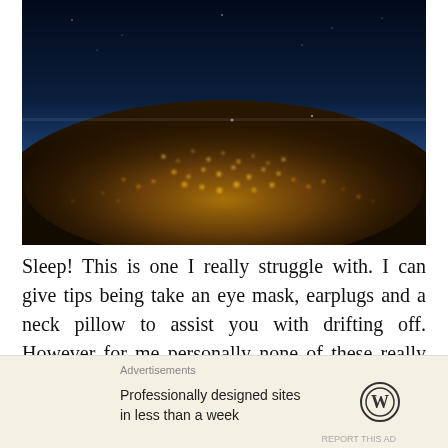[Figure (photo): Aerial/satellite night photograph of a city with glowing lights below, and a blue-tinted atmosphere with a reddish horizon line at the top of the image. Space visible at the upper portion.]
Sleep! This is one I really struggle with. I can give tips being take an eye mask, earplugs and a neck pillow to assist you with drifting off. However for me personally none of these really help. Normally
Advertisements
Professionally designed sites in less than a week